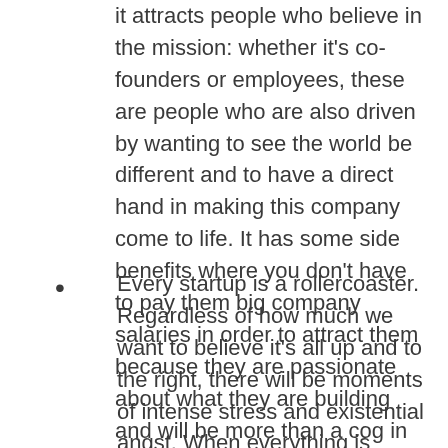it attracts people who believe in the mission: whether it's co-founders or employees, these are people who are also driven by wanting to see the world be different and to have a direct hand in making this company come to life. It has some side benefits where you don't have to pay them big company salaries in order to attract them because they are passionate about what they are building and will be more than a cog in the wheel of a large enterprise.
Every startup is a rollercoaster. Regardless of how much we want to believe it's all up and to the right, there will be moments of intense stress and existential angst. When everything is going to shit, you can hold on to your mission and know why you are doing this and use this to